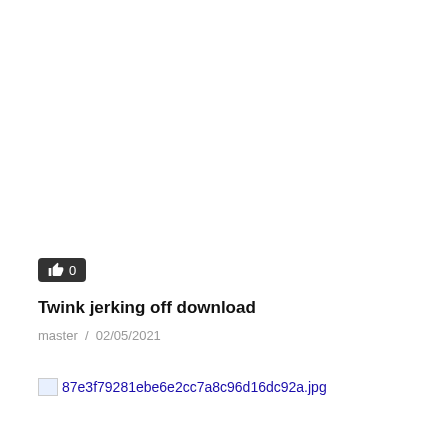[Figure (other): Like/upvote button badge showing thumbs up icon and count 0, dark background]
Twink jerking off download
master  /  02/05/2021
87e3f79281ebe6e2cc7a8c96d16dc92a.jpg